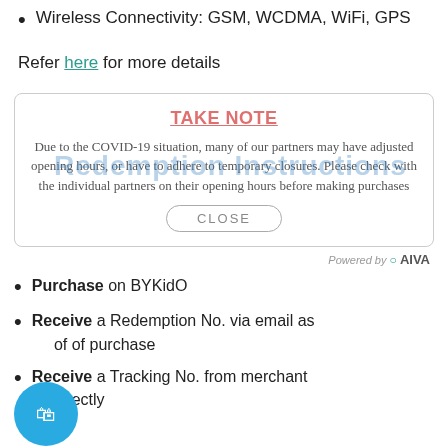Wireless Connectivity: GSM, WCDMA, WiFi, GPS
Refer here for more details
TAKE NOTE
Due to the COVID-19 situation, many of our partners may have adjusted opening hours, or have to adhere to temporary closures. Please check with the individual partners on their opening hours before making purchases
Redemption Instructions
CLOSE
Powered by AIVA
Purchase on BYKidO
Receive a Redemption No. via email as proof of purchase
Receive a Tracking No. from merchant directly